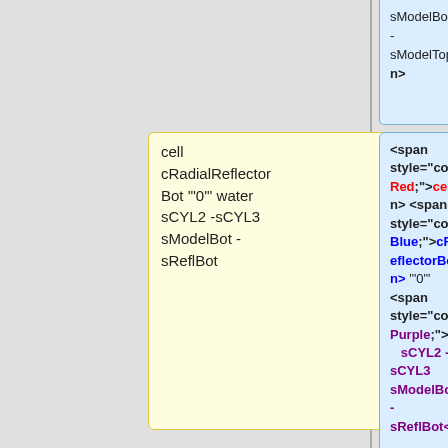sModelBot - sModelTop</span>
cell cRadialReflectorBot "0" water sCYL2 -sCYL3 sModelBot -sReflBot
<span style="color: Red;">cell</span> <span style="color: Blue;">cRadialReflectorBot</span> "0" <span style="color: Purple;">water sCYL2 - sCYL3 sModelBot - sReflBot</span>
cell cRadialReflectorMid "0" graphite sCYL2 -sCYL3 sReflBot
<span style="color: Red;">cell</span> <span style="color: Blue;"